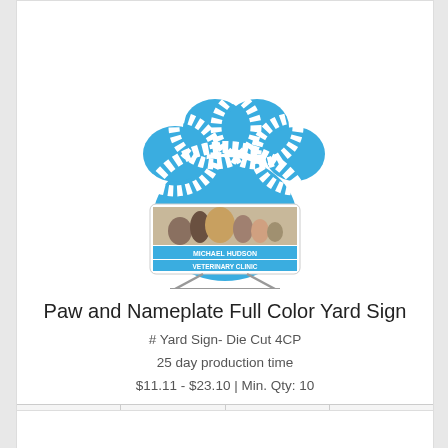[Figure (photo): Paw print yard sign shaped product with blue paw print on top and a nameplate showing Michael Hudson Veterinary Clinic with animals photo, mounted on wire stand]
Paw and Nameplate Full Color Yard Sign
# Yard Sign- Die Cut 4CP
25 day production time
$11.11 - $23.10 | Min. Qty: 10